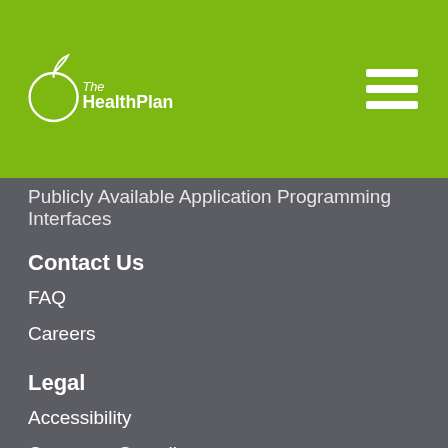[Figure (logo): TheHealthPlan logo — apple outline with leaf, white text on green background]
Publicly Available Application Programming Interfaces
Contact Us
FAQ
Careers
Legal
Accessibility
Corporate Compliance
Healthcare Fraud
HIPAA Notice of Privacy Practices
HIPAA Privacy Information and Forms
Nondiscrimination Notice
Terms & Conditions